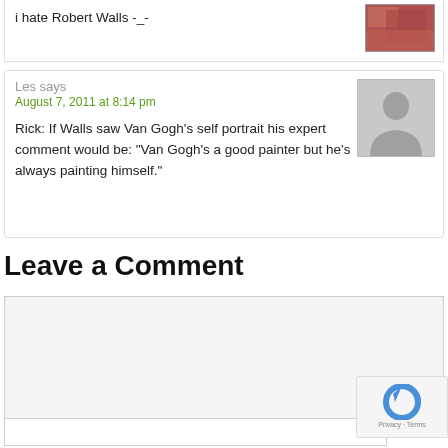i hate Robert Walls -_-
Les says
August 7, 2011 at 8:14 pm
Rick: If Walls saw Van Gogh's self portrait his expert comment would be: "Van Gogh's a good painter but he's always painting himself."
Leave a Comment
Name *